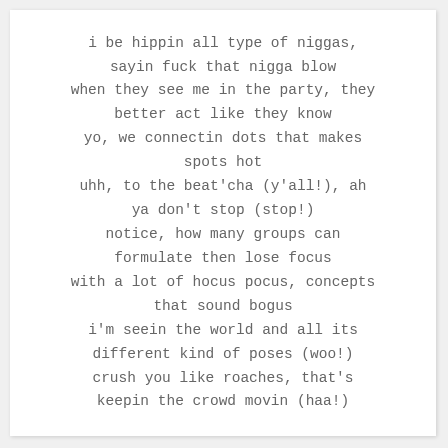i be hippin all type of niggas,
sayin fuck that nigga blow
when they see me in the party, they
better act like they know
yo, we connectin dots that makes
spots hot
uhh, to the beat'cha (y'all!), ah
ya don't stop (stop!)
notice, how many groups can
formulate then lose focus
with a lot of hocus pocus, concepts
that sound bogus
i'm seein the world and all its
different kind of poses (woo!)
crush you like roaches, that's
keepin the crowd movin (haa!)